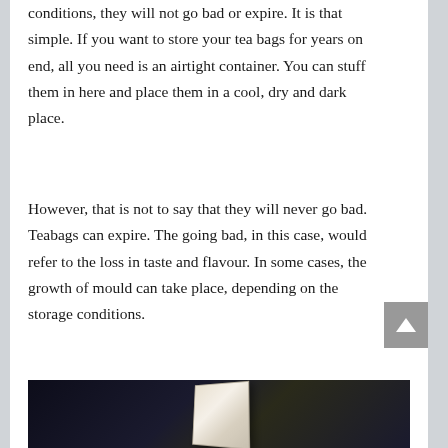But if you can keep them safe from such conditions, they will not go bad or expire. It is that simple. If you want to store your tea bags for years on end, all you need is an airtight container. You can stuff them in here and place them in a cool, dry and dark place.
However, that is not to say that they will never go bad. Teabags can expire. The going bad, in this case, would refer to the loss in taste and flavour. In some cases, the growth of mould can take place, depending on the storage conditions.
[Figure (photo): Photo of a light-colored box or container on a dark background]